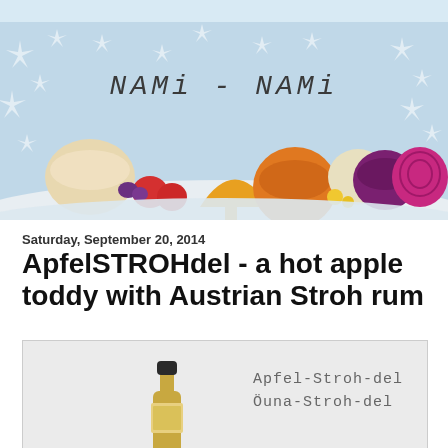[Figure (illustration): Nami-Nami food blog header banner with illustrated vegetables and fruits (mushrooms, strawberries, pumpkin, beets, onion) on a winter/Christmas snowy background with snowflakes. Blog title 'Nami-Nami' in hand-lettered style in the center top.]
Saturday, September 20, 2014
ApfelSTROHdel - a hot apple toddy with Austrian Stroh rum
[Figure (photo): Photo of a bottle of Stroh rum on a light grey background. Handwritten-style text overlay reads 'Apfel-Stroh-del' and 'Öuna-Stroh-del'.]